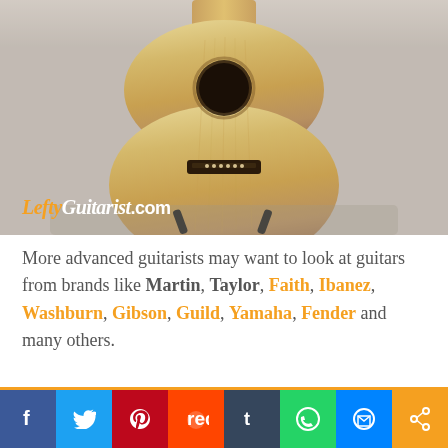[Figure (photo): Acoustic guitar body resting on a stand, photographed from the front. Light wood (spruce) top with visible grain lines, dark bridge with saddle and 6 string pins. Guitar stand visible at the bottom. Watermark text 'LeftyGuitarist.com' overlaid in lower left.]
More advanced guitarists may want to look at guitars from brands like Martin, Taylor, Faith, Ibanez, Washburn, Gibson, Guild, Yamaha, Fender and many others.